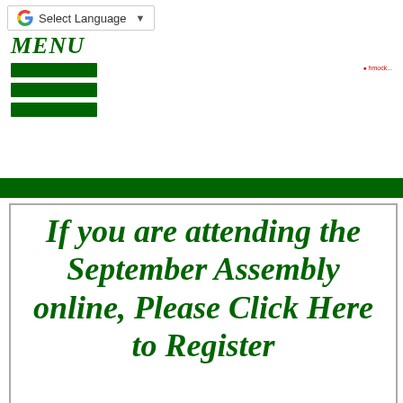Select Language
MENU
[Figure (other): Three green horizontal bars forming a hamburger menu icon]
If you are attending the September Assembly online, Please Click Here to Register